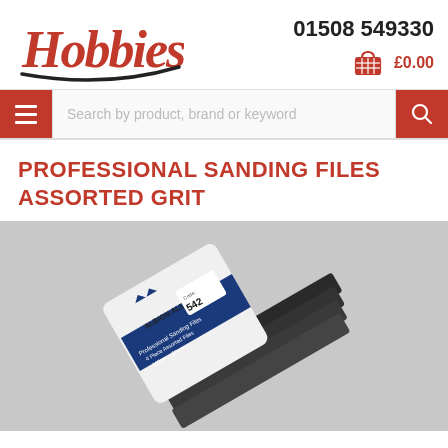Hobbies — 01508 549330 — £0.00
PROFESSIONAL SANDING FILES ASSORTED GRIT
[Figure (photo): Albion Alloys Professional Sanding Files 4 Piece Assorted Files, 165mm x 20mm, Code 542, shown in packaging on a grey background]